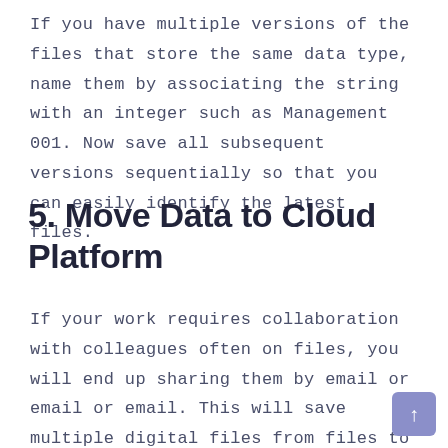If you have multiple versions of the files that store the same data type, name them by associating the string with an integer such as Management 001. Now save all subsequent versions sequentially so that you can easily identify the latest files.
5. Move Data to Cloud Platform
If your work requires collaboration with colleagues often on files, you will end up sharing them by email or email or email. This will save multiple digital files from files to different locations on the computer.